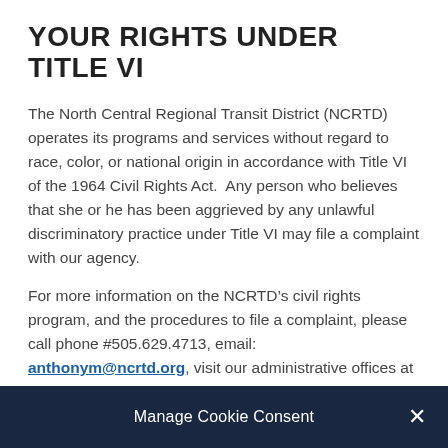YOUR RIGHTS UNDER TITLE VI
The North Central Regional Transit District (NCRTD) operates its programs and services without regard to race, color, or national origin in accordance with Title VI of the 1964 Civil Rights Act.  Any person who believes that she or he has been aggrieved by any unlawful discriminatory practice under Title VI may file a complaint with our agency.
For more information on the NCRTD’s civil rights program, and the procedures to file a complaint, please call phone #505.629.4713, email: anthonym@ncrtd.org, visit our administrative offices at 1327 North Riverside Drive, Española, NM 87532, or visit www.ncrtd.org. Click HERE to access the complaint procedures and form.
A complainant may file a complaint directly with the
Manage Cookie Consent